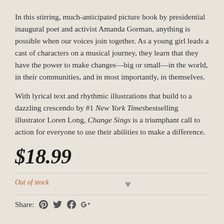In this stirring, much-anticipated picture book by presidential inaugural poet and activist Amanda Gorman, anything is possible when our voices join together. As a young girl leads a cast of characters on a musical journey, they learn that they have the power to make changes—big or small—in the world, in their communities, and in most importantly, in themselves.
With lyrical text and rhythmic illustrations that build to a dazzling crescendo by #1 New York Times bestselling illustrator Loren Long, Change Sings is a triumphant call to action for everyone to use their abilities to make a difference.
$18.99
Out of stock
Share: